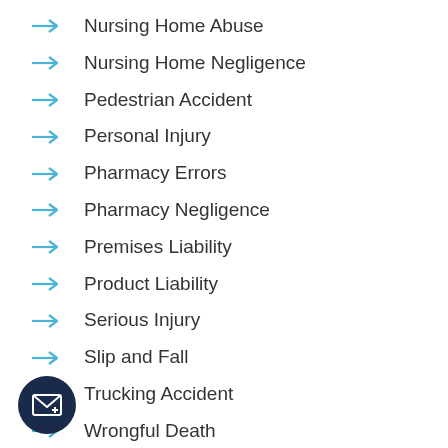Nursing Home Abuse
Nursing Home Negligence
Pedestrian Accident
Personal Injury
Pharmacy Errors
Pharmacy Negligence
Premises Liability
Product Liability
Serious Injury
Slip and Fall
Trucking Accident
Wrongful Death